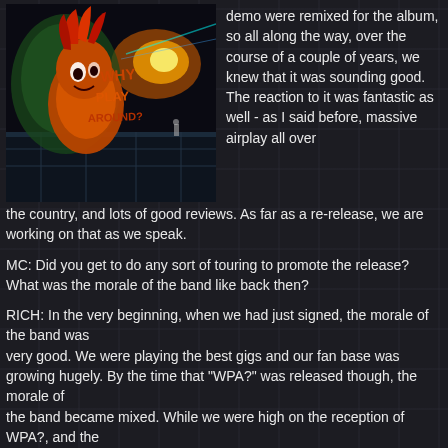[Figure (illustration): Album cover art for 'Why Play Around?' showing a colorful illustrated character with red hair/feathers, orange and green colors, with graffiti-style text reading 'WHY PLAY AROUND?' on a dark background with sci-fi/space elements]
demo were remixed for the album, so all along the way, over the course of a couple of years, we knew that it was sounding good. The reaction to it was fantastic as well - as I said before, massive airplay all over the country, and lots of good reviews. As far as a re-release, we are working on that as we speak.
MC: Did you get to do any sort of touring to promote the release? What was the morale of the band like back then?
RICH: In the very beginning, when we had just signed, the morale of the band was very good. We were playing the best gigs and our fan base was growing hugely. By the time that "WPA?" was released though, the morale of the band became mixed. While we were high on the reception of WPA?, and the shows, especially in the northeastern states were getting bigger and bigger, we were having major problems with the label and then our